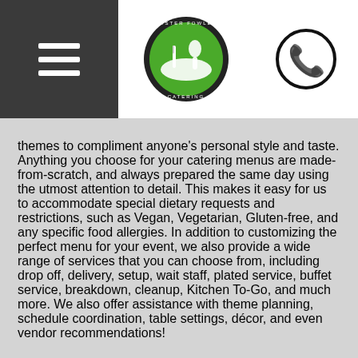[Header with hamburger menu, catering logo, and phone icon]
themes to compliment anyone's personal style and taste. Anything you choose for your catering menus are made-from-scratch, and always prepared the same day using the utmost attention to detail. This makes it easy for us to accommodate special dietary requests and restrictions, such as Vegan, Vegetarian, Gluten-free, and any specific food allergies. In addition to customizing the perfect menu for your event, we also provide a wide range of services that you can choose from, including drop off, delivery, setup, wait staff, plated service, buffet service, breakdown, cleanup, Kitchen To-Go, and much more. We also offer assistance with theme planning, schedule coordination, table settings, décor, and even vendor recommendations!